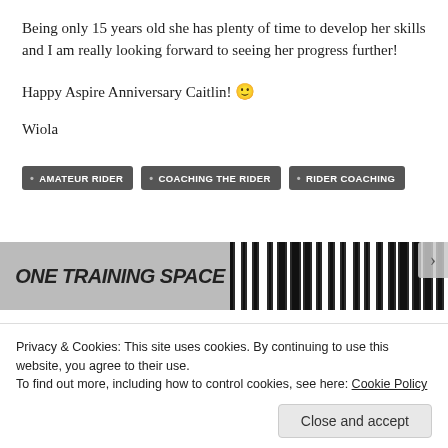Being only 15 years old she has plenty of time to develop her skills and I am really looking forward to seeing her progress further!
Happy Aspire Anniversary Caitlin! 🙂
Wiola
AMATEUR RIDER
COACHING THE RIDER
RIDER COACHING
[Figure (screenshot): Preview strip of next article titled 'ONE TRAINING SPACE' with barcode-like graphic on the right]
Privacy & Cookies: This site uses cookies. By continuing to use this website, you agree to their use.
To find out more, including how to control cookies, see here: Cookie Policy
Close and accept